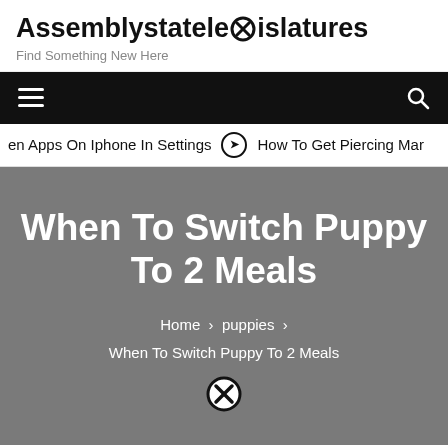Assemblystatelegislatures
Find Something New Here
en Apps On Iphone In Settings  ❯  How To Get Piercing Mar
When To Switch Puppy To 2 Meals
Home › puppies › When To Switch Puppy To 2 Meals